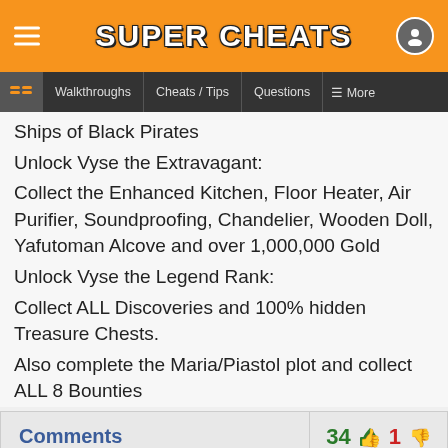Super Cheats
Walkthroughs | Cheats / Tips | Questions | More
Ships of Black Pirates
Unlock Vyse the Extravagant:
Collect the Enhanced Kitchen, Floor Heater, Air Purifier, Soundproofing, Chandelier, Wooden Doll, Yafutoman Alcove and over 1,000,000 Gold
Unlock Vyse the Legend Rank:
Collect ALL Discoveries and 100% hidden Treasure Chests.
Also complete the Maria/Piastol plot and collect ALL 8 Bounties
Comments  34 👍  1 👎
Weapons
While playing, some of your weopons might be non-effective.
Change your element for your weapon by pressing the X button